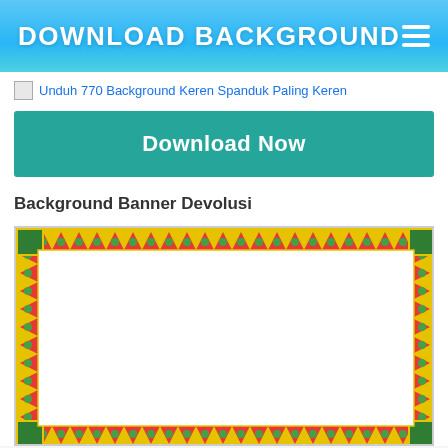DOWNLOAD BACKGROUND
Unduh 770 Background Keren Spanduk Paling Keren
Download Now
Background Banner Devolusi
[Figure (illustration): Decorative border banner with red, green, gold/yellow traditional pattern motifs forming a rectangular frame on white background.]